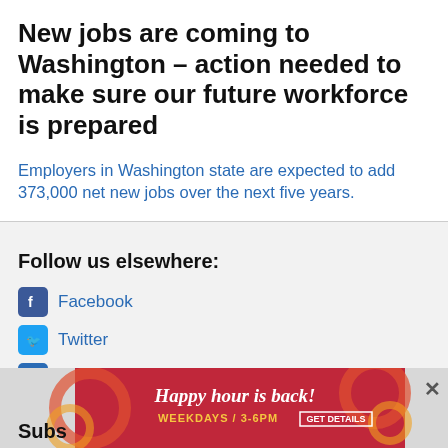New jobs are coming to Washington – action needed to make sure our future workforce is prepared
Employers in Washington state are expected to add 373,000 net new jobs over the next five years.
Follow us elsewhere:
Facebook
Twitter
Newsletter
[Figure (screenshot): Advertisement banner: 'Happy hour is back! WEEKDAYS / 3-6PM GET DETAILS' on red background with decorative swirls]
Subs…